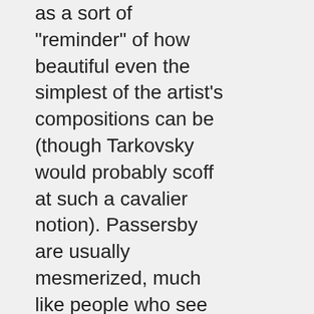as a sort of "reminder" of how beautiful even the simplest of the artist's compositions can be (though Tarkovsky would probably scoff at such a cavalier notion). Passersby are usually mesmerized, much like people who see and smell a Picasso for the first time. Tarkosky's cinematographer says this:
When we were doing Ivan's Childhood he was young (28), he had no experience, he